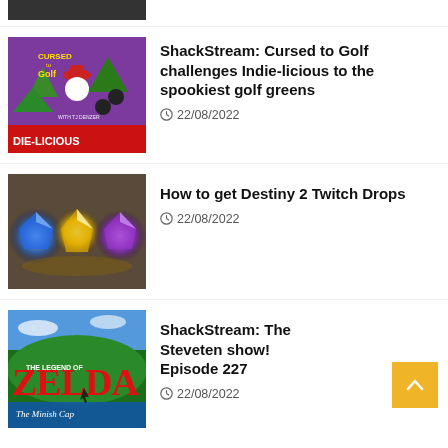[Figure (photo): Partial thumbnail image at top of page, dark/black colored, cropped]
[Figure (photo): Cursed to Golf game thumbnail with purple background and DIE-LICIOUS text]
ShackStream: Cursed to Golf challenges Indie-licious to the spookiest golf greens
22/08/2022
[Figure (photo): Destiny 2 Twitch Drops - glowing orbs on dark background]
How to get Destiny 2 Twitch Drops
22/08/2022
[Figure (photo): Legend of Zelda: The Minish Cap game art]
ShackStream: The Steveten show! Episode 227
22/08/2022